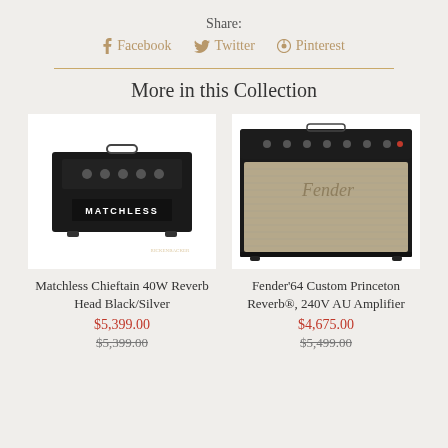Share:
Facebook  Twitter  Pinterest
More in this Collection
[Figure (photo): Matchless Chieftain 40W Reverb Head Black/Silver guitar amplifier head on white background]
Matchless Chieftain 40W Reverb Head Black/Silver
$5,399.00
$5,399.00
[Figure (photo): Fender '64 Custom Princeton Reverb 240V AU Amplifier combo amp on white background]
Fender'64 Custom Princeton Reverb®, 240V AU Amplifier
$4,675.00
$5,499.00